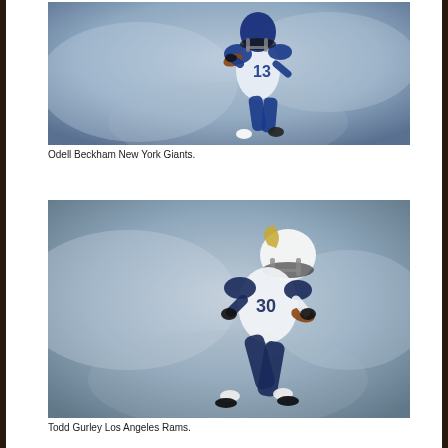[Figure (photo): NFL player Odell Beckham wearing New York Giants blue uniform number 13, running with football against a blue smoky background]
Odell Beckham New York Giants.
[Figure (photo): NFL player Todd Gurley wearing Los Angeles Rams white and navy uniform, running with football against a blue smoky background]
Todd Gurley Los Angeles Rams.